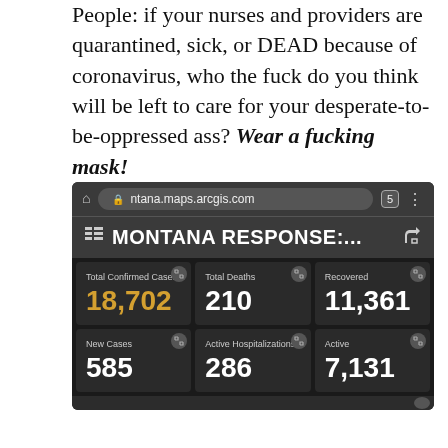People: if your nurses and providers are quarantined, sick, or DEAD because of coronavirus, who the fuck do you think will be left to care for your desperate-to-be-oppressed ass? Wear a fucking mask!
[Figure (screenshot): Mobile browser screenshot of Montana Response COVID-19 dashboard on montana.maps.arcgis.com showing: Total Confirmed Cases 18,702; Total Deaths 210; Recovered 11,361; New Cases 585; Active Hospitalizations 286; Active 7,131]